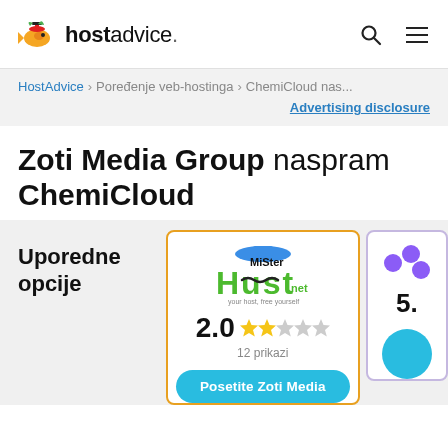hostadvice. [search] [menu]
HostAdvice > Poređenje veb-hostinga > ChemiCloud nas...
Advertising disclosure
Zoti Media Group naspram ChemiCloud
Uporedne opcije
[Figure (screenshot): MiSter Host logo with rating 2.0 stars (2 filled, 3 empty), 12 prikazi reviews, and 'Posetite Zoti Media' button]
[Figure (screenshot): ChemiCloud partial card showing purple logo icon and rating 5. partially visible]